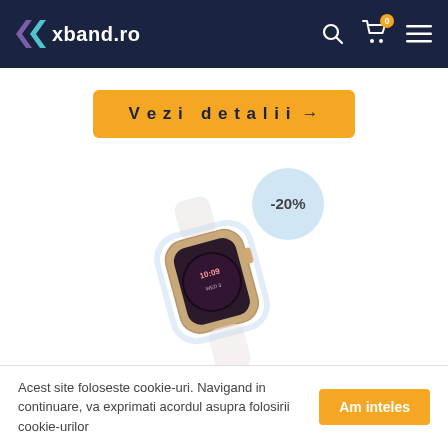xband.ro
Vezi detalii →
[Figure (photo): Apple Watch with transparent protective case, showing a gold Apple Watch with a clear/transparent case overlay. A -20% discount badge is shown in a light blue circle.]
Husă de protecție Apple Watch 1/2/3 42mm – Transparent – A412
Acest site foloseste cookie-uri. Navigand in continuare, va exprimati acordul asupra folosirii cookie-urilor
Am inteles